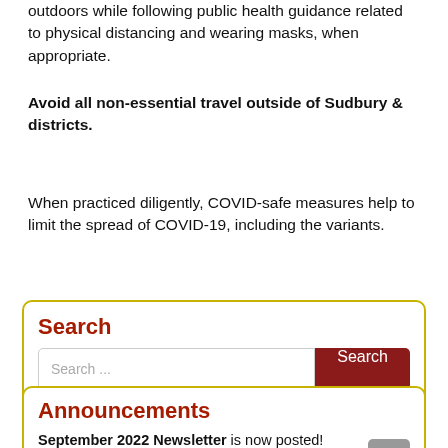outdoors while following public health guidance related to physical distancing and wearing masks, when appropriate.
Avoid all non-essential travel outside of Sudbury & districts.
When practiced diligently, COVID-safe measures help to limit the spread of COVID-19, including the variants.
Search
Search ...
Announcements
September 2022 Newsletter is now posted!
Please click here to read the newsletter